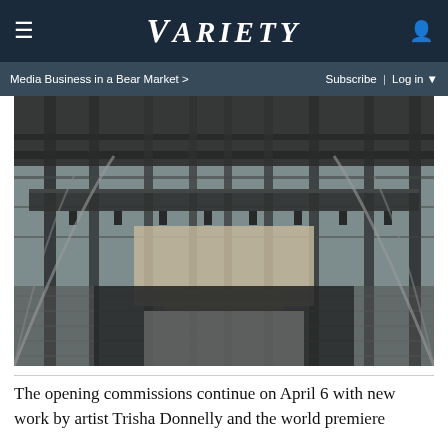VARIETY
Media Business in a Bear Market > | Subscribe | Log in
[Figure (photo): Interior of a large performance venue or theater shot through glass panels and metal framework, showing stage lighting rigs, structural columns, and audience area below, in black and white tones]
The opening commissions continue on April 6 with new work by artist Trisha Donnelly and the world premiere